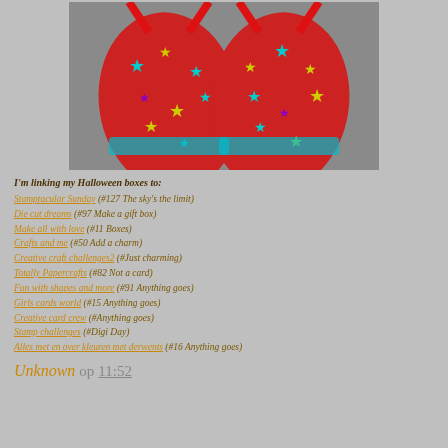[Figure (photo): Red flip-flop sandals with colorful star pattern (cyan, yellow, purple stars) on a gray background, viewed from above]
I'm linking my Halloween boxes to:
Stamptacular Sunday (#127 The sky's the limit)
Die cut dreams (#97 Make a gift box)
Make all with love (#11 Boxes)
Crafts and me (#50 Add a charm)
Creative craft challenges2 (#Just charming)
Totally Papercrafts (#82 Not a card)
Fun with shapes and more (#91 Anything goes)
Girls cards world (#15 Anything goes)
Creative card crew (#Anything goes)
Stamp challenges (#Digi Day)
Alles met en over kleuren met derwents (#16 Anything goes)
Unknown op 11:52